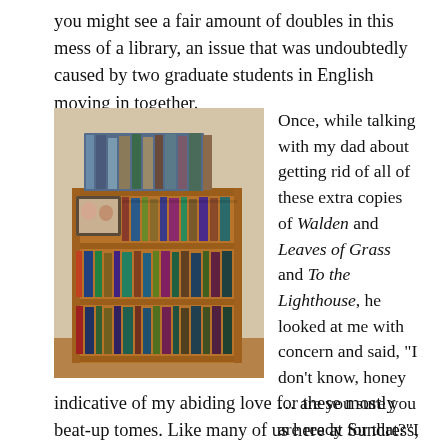you might see a fair amount of doubles in this mess of a library, an issue that was undoubtedly caused by two graduate students in English moving in together.
[Figure (photo): A wooden bookshelf overflowing with books, with stacks of books piled on top. A small photo frame is visible on the upper left shelf area. The shelves are packed with colorful books of various sizes, some leaning and stacked horizontally.]
Once, while talking with my dad about getting rid of all of these extra copies of Walden and Leaves of Grass and To the Lighthouse, he looked at me with concern and said, “I don’t know, honey … are you sure you are ready for that?”I think my dad’s reaction is pretty
indicative of my abiding love for these mostly beat-up tomes. Like many of us here at Sundress, my physical